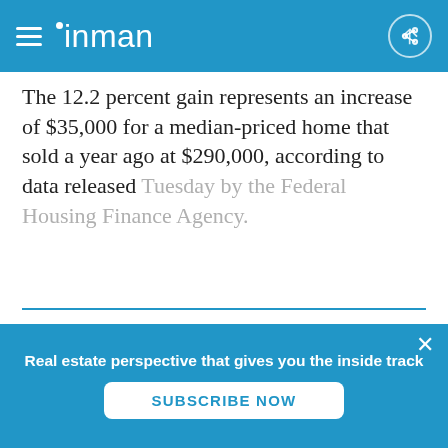inman
The 12.2 percent gain represents an increase of $35,000 for a median-priced home that sold a year ago at $290,000, according to data released Tuesday by the Federal Housing Finance Agency.
I already have an account,  Sign In
Real estate perspective that gives you the inside track
SUBSCRIBE NOW